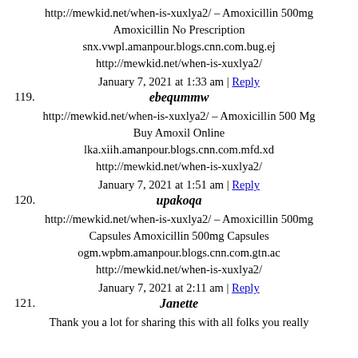http://mewkid.net/when-is-xuxlya2/ – Amoxicillin 500mg Amoxicillin No Prescription snx.vwpl.amanpour.blogs.cnn.com.bug.ej http://mewkid.net/when-is-xuxlya2/
January 7, 2021 at 1:33 am | Reply
119. ebeqummw
http://mewkid.net/when-is-xuxlya2/ – Amoxicillin 500 Mg Buy Amoxil Online lka.xiih.amanpour.blogs.cnn.com.mfd.xd http://mewkid.net/when-is-xuxlya2/
January 7, 2021 at 1:51 am | Reply
120. upakoqa
http://mewkid.net/when-is-xuxlya2/ – Amoxicillin 500mg Capsules Amoxicillin 500mg Capsules ogm.wpbm.amanpour.blogs.cnn.com.gtn.ac http://mewkid.net/when-is-xuxlya2/
January 7, 2021 at 2:11 am | Reply
121. Janette
Thank you a lot for sharing this with all folks you really